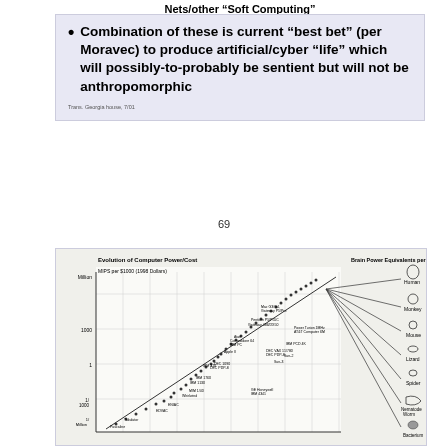Nets/other "Soft Computing"
Combination of these is current "best bet" (per Moravec) to produce artificial/cyber "life" which will possibly-to-probably be sentient but will not be anthropomorphic
Trans. Georgia house, 7/01
69
[Figure (continuous-plot): Evolution of Computer Power/Cost chart showing MIPS per $1000 in 1998 dollars over time, with Brain Power Equivalents per $1000 of Computer on the right side showing animals including Human, Monkey, Mouse, Lizard, Spider, Nematode Worm, Bacterium. The chart shows an exponential trend line with many labeled data points for various computers from early models to modern ones.]